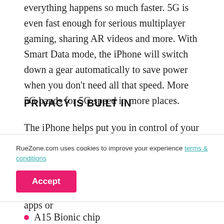everything happens so much faster. 5G is even fast enough for serious multiplayer gaming, sharing AR videos and more. With Smart Data mode, the iPhone will switch down a gear automatically to save power when you don't need all that speed. More 5G bands for 5G speed in more places.
PRIVACY IS BUILT IN
The iPhone helps put you in control of your personal information. For example, Privacy Nutrition Labels help you see how apps use your data. Apps need your permission to track your activity across other companies' apps or
[Figure (illustration): Shopping bag icon with orange badge showing count 0, teal/cyan circular background]
RueZone.com uses cookies to improve your experience terms & conditions Accept
A15 Bionic chip